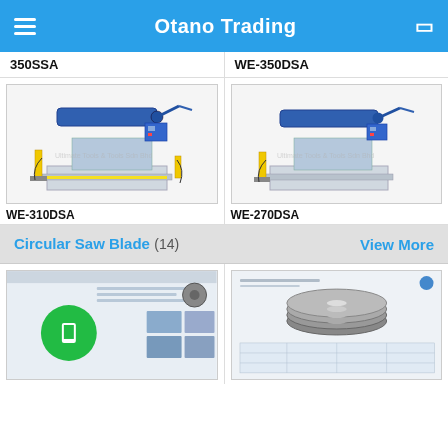Otano Trading
350SSA
WE-350DSA
[Figure (photo): Industrial band saw machine WE-310DSA, blue and grey metallic machine with yellow stand posts, watermark: Ultimate Tools & Tools Sdn Bhd]
[Figure (photo): Industrial band saw machine WE-270DSA, blue and grey metallic machine with yellow stand post, watermark: Ultimate Tools & Tools Sdn Bhd]
WE-310DSA
WE-270DSA
Circular Saw Blade (14)
View More
[Figure (screenshot): Screenshot of a circular saw blade product page with a green circular play/info button overlay]
[Figure (photo): Circular saw blades product image showing multiple blades stacked/arranged with product specification table below]